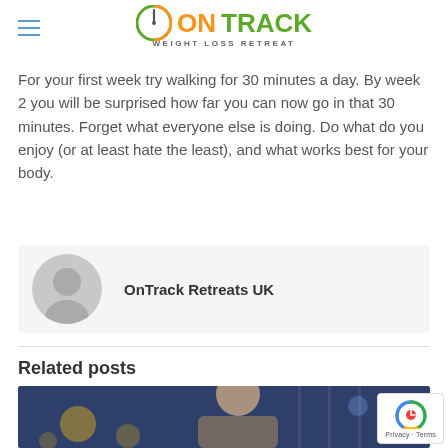OnTrack Weight Loss Retreat
For your first week try walking for 30 minutes a day. By week 2 you will be surprised how far you can now go in that 30 minutes. Forget what everyone else is doing. Do what do you enjoy (or at least hate the least), and what works best for your body.
OnTrack Retreats UK
Related posts
[Figure (photo): Woman with blonde hair outdoors at night in a city, applying lip balm or lipstick, wearing a beige coat, with bokeh lights in background]